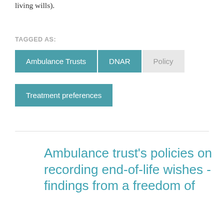living wills).
TAGGED AS:
Ambulance Trusts
DNAR
Policy
Treatment preferences
Ambulance trust's policies on recording end-of-life wishes - findings from a freedom of